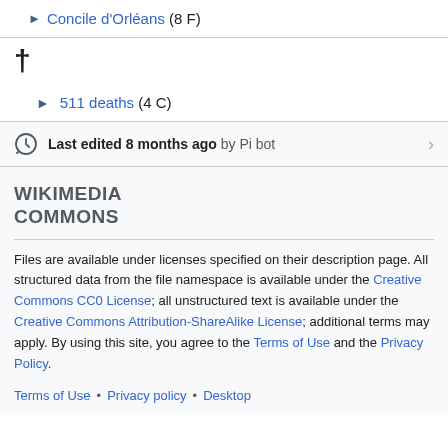► Concile d'Orléans (8 F)
†
► 511 deaths (4 C)
Last edited 8 months ago by Pi bot
WIKIMEDIA COMMONS
Files are available under licenses specified on their description page. All structured data from the file namespace is available under the Creative Commons CC0 License; all unstructured text is available under the Creative Commons Attribution-ShareAlike License; additional terms may apply. By using this site, you agree to the Terms of Use and the Privacy Policy.
Terms of Use • Privacy policy • Desktop